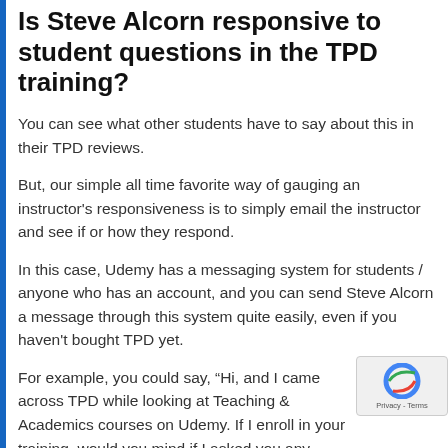Is Steve Alcorn responsive to student questions in the TPD training?
You can see what other students have to say about this in their TPD reviews.
But, our simple all time favorite way of gauging an instructor's responsiveness is to simply email the instructor and see if or how they respond.
In this case, Udemy has a messaging system for students / anyone who has an account, and you can send Steve Alcorn a message through this system quite easily, even if you haven't bought TPD yet.
For example, you could say, “Hi, and I came across TPD while looking at Teaching & Academics courses on Udemy. If I enroll in your training, would you mind if I asked you any questions along the way?”
If you use this approach, the response (or lack of